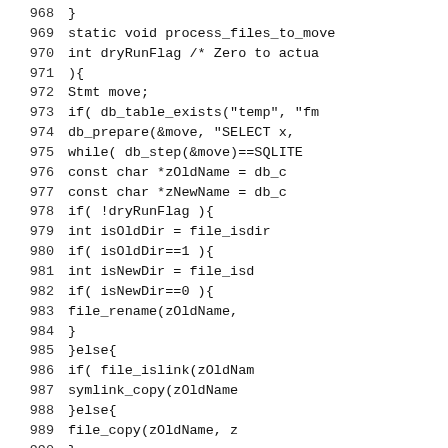Source code listing, lines 968–990
968    }
969    static void process_files_to_move
970      int dryRunFlag /* Zero to actua
971    ){
972       Stmt move;
973       if( db_table_exists("temp", "fm
974          db_prepare(&move, "SELECT x,
975          while( db_step(&move)==SQLITE
976             const char *zOldName = db_c
977             const char *zNewName = db_c
978             if( !dryRunFlag ){
979                int isOldDir = file_isdir
980                if( isOldDir==1 ){
981                   int isNewDir = file_isd
982                   if( isNewDir==0 ){
983                      file_rename(zOldName,
984                   }
985                }else{
986                   if( file_islink(zOldNam
987                      symlink_copy(zOldName
988                   }else{
989                      file_copy(zOldName, z
990                   }